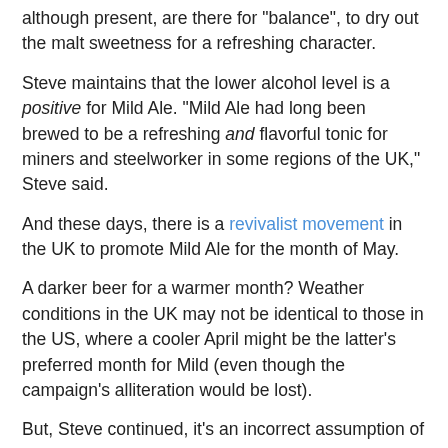although present, are there for "balance", to dry out the malt sweetness for a refreshing character.
Steve maintains that the lower alcohol level is a positive for Mild Ale. "Mild Ale had long been brewed to be a refreshing and flavorful tonic for miners and steelworker in some regions of the UK," Steve said.
And these days, there is a revivalist movement in the UK to promote Mild Ale for the month of May.
A darker beer for a warmer month? Weather conditions in the UK may not be identical to those in the US, where a cooler April might be the latter's preferred month for Mild (even though the campaign's alliteration would be lost).
But, Steve continued, it's an incorrect assumption of many that a dark beer will always be 'heavy'.
Steve finds Mild Ale to be refreshing even during hot humid Maryland summers. It can be flavorful without being 'heavy'. "Just taste it," he suggests.